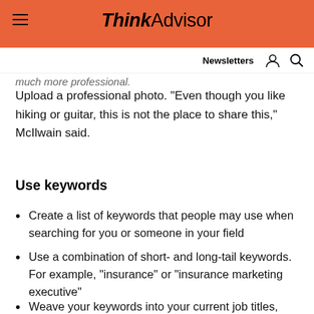ThinkAdvisor
much more professional.
Upload a professional photo. “Even though you like hiking or guitar, this is not the place to share this,” McIlwain said.
Use keywords
Create a list of keywords that people may use when searching for you or someone in your field
Use a combination of short- and long-tail keywords. For example, “insurance” or “insurance marketing executive”
Weave your keywords into your current job titles, past job titles and personal summary